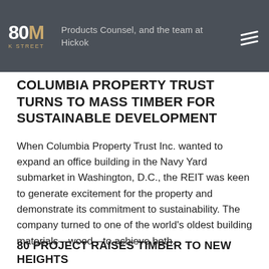Products Counsel, and the team at Hickok
COLUMBIA PROPERTY TRUST TURNS TO MASS TIMBER FOR SUSTAINABLE DEVELOPMENT
When Columbia Property Trust Inc. wanted to expand an office building in the Navy Yard submarket in Washington, D.C., the REIT was keen to generate excitement for the property and demonstrate its commitment to sustainability. The company turned to one of the world’s oldest building materials—wood—to achieve both.
80 PROJECT RAISES TIMBER TO NEW HEIGHTS